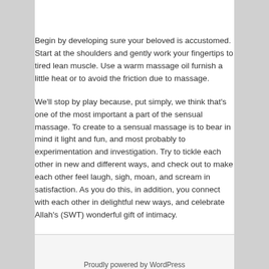Begin by developing sure your beloved is accustomed. Start at the shoulders and gently work your fingertips to tired lean muscle. Use a warm massage oil furnish a little heat or to avoid the friction due to massage.
We'll stop by play because, put simply, we think that's one of the most important a part of the sensual massage. To create to a sensual massage is to bear in mind it light and fun, and most probably to experimentation and investigation. Try to tickle each other in new and different ways, and check out to make each other feel laugh, sigh, moan, and scream in satisfaction. As you do this, in addition, you connect with each other in delightful new ways, and celebrate Allah's (SWT) wonderful gift of intimacy.
This entry was posted in Uncategorized by Ivan. Bookmark the permalink.
Proudly powered by WordPress